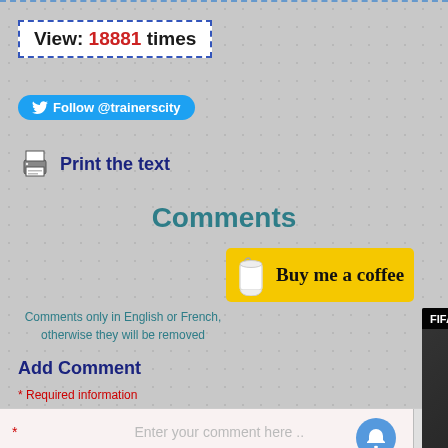View: 18881 times
Follow @trainerscity
Print the text
Comments
[Figure (other): Buy me a coffee button with coffee cup icon on yellow background]
Comments only in English or French, otherwise they will be removed
Add Comment
* Required information
* Enter your comment here ..
[Figure (screenshot): FIFA 23 release date video overlay with play button]
* Name